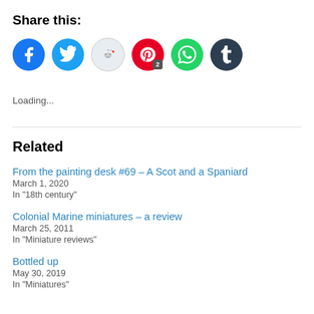Share this:
[Figure (infographic): Row of social media share buttons: Facebook (blue), Twitter (blue), Reddit (light gray), Pinterest (red, with badge '2'), WhatsApp (green), Tumblr (dark navy)]
Loading...
Related
From the painting desk #69 – A Scot and a Spaniard
March 1, 2020
In "18th century"
Colonial Marine miniatures – a review
March 25, 2011
In "Miniature reviews"
Bottled up
May 30, 2019
In "Miniatures"